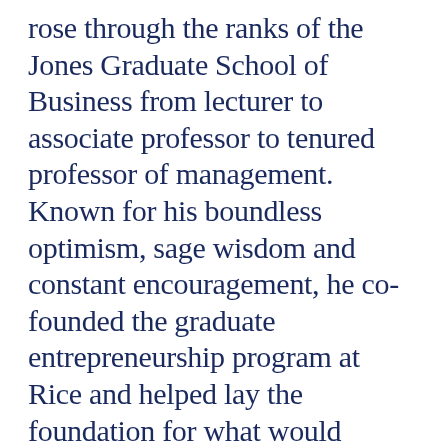rose through the ranks of the Jones Graduate School of Business from lecturer to associate professor to tenured professor of management. Known for his boundless optimism, sage wisdom and constant encouragement, he co-founded the graduate entrepreneurship program at Rice and helped lay the foundation for what would become the No. 1-ranked program in the country. Beyond the classroom, he helped fuel numerous innovations and business ideas among students and alumni through the Rice Entrepreneurship Organization, Owl Spark Accelerator, Rice Alliance, Rice Business Plan Competition